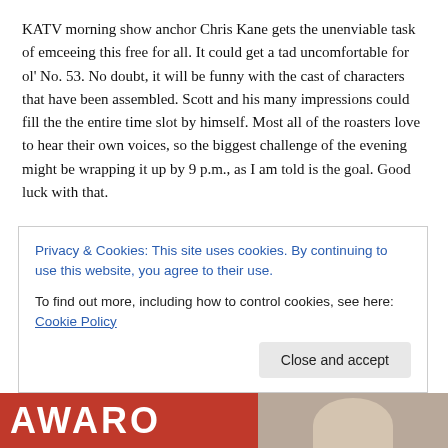KATV morning show anchor Chris Kane gets the unenviable task of emceeing this free for all. It could get a tad uncomfortable for ol' No. 53. No doubt, it will be funny with the cast of characters that have been assembled. Scott and his many impressions could fill the the entire time slot by himself. Most all of the roasters love to hear their own voices, so the biggest challenge of the evening might be wrapping it up by 9 p.m., as I am told is the goal. Good luck with that.
I attended my first Toast & Roast last year with former Arkansas basketball coach Nolan Richardson as the honoree. Bradley, current UA basketball coach Mike Anderson, and former Hogs and NBA standout Todd Day raised a high bar for this year. With some of the stories told and jokes delivered by last year's emcee — KTHV-TV, Channel 11's Craig O'Neill — I didn't quit laughing.
Congratulations to Bazzel. The honor is well deserved, and his presence and the all-star roaster roster should make for a huge crowd
Privacy & Cookies: This site uses cookies. By continuing to use this website, you agree to their use.
To find out more, including how to control cookies, see here: Cookie Policy
[Figure (photo): Partial image strip at bottom of page showing red background with white letters spelling 'AWARD' and a person's photo on the right side]